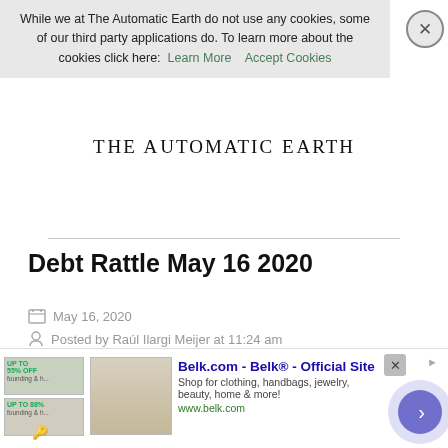While we at The Automatic Earth do not use any cookies, some of our third party applications do. To learn more about the cookies click here: Learn More   Accept Cookies
THE AUTOMATIC EARTH
Debt Rattle May 16 2020
May 16, 2020
Posted by Raúl Ilargi Meijer at 11:24 am
22 Responses »
[Figure (photo): Partial view of an article's featured image, appears to be a painting or artistic illustration with blue, teal, and earth tones]
[Figure (screenshot): Advertisement banner for Belk.com - Belk Official Site. Shows product thumbnails for bedding and home goods. Text: Shop for clothing, handbags, jewelry, beauty, home & more! www.belk.com]